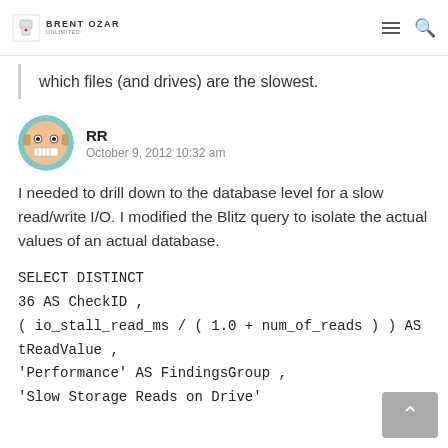BRENT OZAR
which files (and drives) are the slowest.
RR
October 9, 2012 10:32 am
I needed to drill down to the database level for a slow read/write I/O. I modified the Blitz query to isolate the actual values of an actual database.
SELECT DISTINCT
36 AS CheckID ,
( io_stall_read_ms / ( 1.0 + num_of_reads ) ) AS tReadValue ,
'Performance' AS FindingsGroup ,
'Slow Storage Reads on Drive'